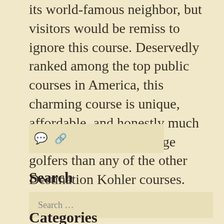its world-famous neighbor, but visitors would be remiss to ignore this course. Deservedly ranked among the top public courses in America, this charming course is unique, affordable, and honestly much more playable for average golfers than any of the other Destination Kohler courses. ... More
[Figure (other): Comment and link icons in a light box]
Search
Search ...
Categories